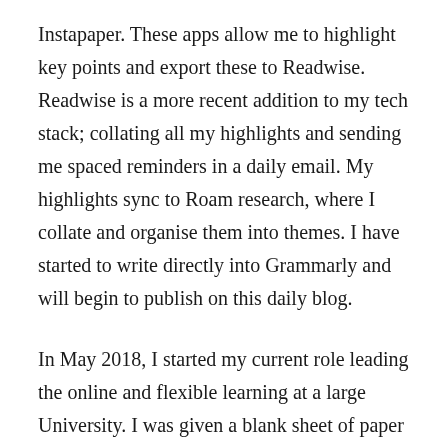Instapaper. These apps allow me to highlight key points and export these to Readwise. Readwise is a more recent addition to my tech stack; collating all my highlights and sending me spaced reminders in a daily email. My highlights sync to Roam research, where I collate and organise them into themes. I have started to write directly into Grammarly and will begin to publish on this daily blog.
In May 2018, I started my current role leading the online and flexible learning at a large University. I was given a blank sheet of paper and asked to create a plan to move the organisation towards hyper flexibility. The groundwork before March 2020 and a growing team has allowed the University to change and adapt to the lockdowns and social distancing to deliver a significant